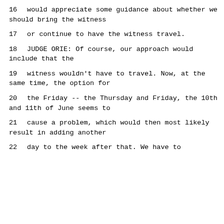16     would appreciate some guidance about whether we should bring the witness
17     or continue to have the witness travel.
18          JUDGE ORIE:  Of course, our approach would include that the
19     witness wouldn't have to travel.  Now, at the same time, the option for
20     the Friday -- the Thursday and Friday, the 10th and 11th of June seems to
21     cause a problem, which would then most likely result in adding another
22     day to the week after that.  We have to